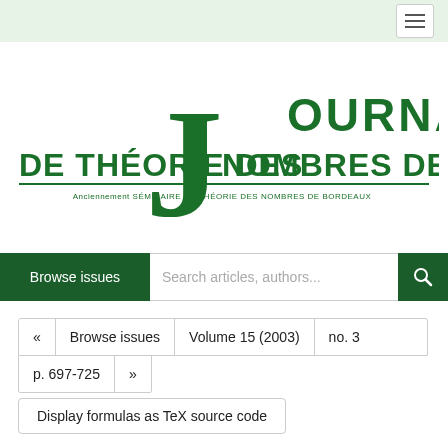Journal de Théorie des Nombres de Bordeaux - navigation header with hamburger menu
[Figure (logo): Journal de Théorie des Nombres de Bordeaux logo with large decorative J, text 'JOURNAL DE THÉORIE DES NOMBRES DE BORDEAUX' and subtitle 'Anciennement SÉMINAIRE DE THÉORIE DES NOMBRES DE BORDEAUX']
Browse issues  Search articles, authors...
«  Browse issues  Volume 15 (2003)  no. 3  p. 697-725  »
Display formulas as TeX source code